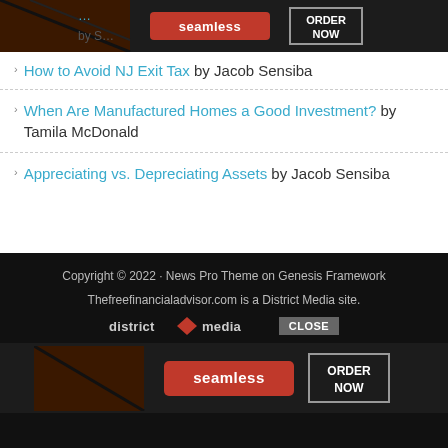[Figure (screenshot): Seamless food delivery advertisement banner at top, partially visible]
How to Avoid NJ Exit Tax by Jacob Sensiba
When Are Manufactured Homes a Good Investment? by Tamila McDonald
Appreciating vs. Depreciating Assets by Jacob Sensiba
Copyright © 2022 · News Pro Theme on Genesis Framework
Thefreefinancialadvisor.com is a District Media site.
[Figure (screenshot): Seamless food delivery advertisement banner at bottom with district media logo and CLOSE button]